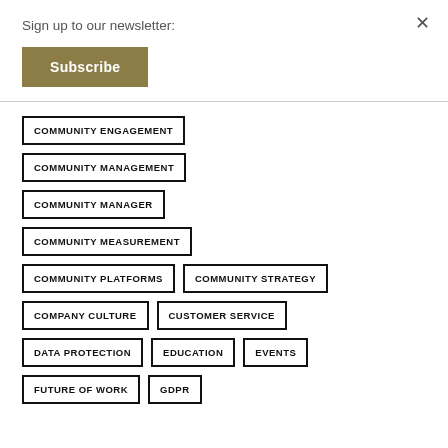Sign up to our newsletter:
Subscribe
COMMUNITY ENGAGEMENT
COMMUNITY MANAGEMENT
COMMUNITY MANAGER
COMMUNITY MEASUREMENT
COMMUNITY PLATFORMS
COMMUNITY STRATEGY
COMPANY CULTURE
CUSTOMER SERVICE
DATA PROTECTION
EDUCATION
EVENTS
FUTURE OF WORK
GDPR